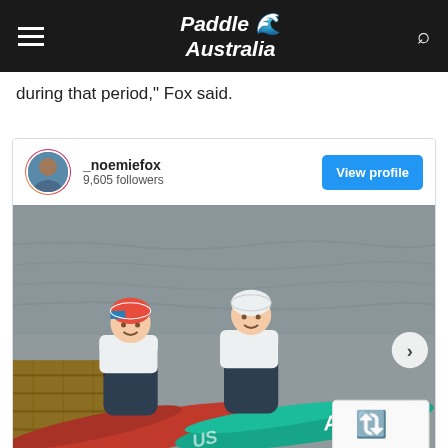Paddle Australia
during that period," Fox said.
[Figure (screenshot): Instagram embed showing _noemiefox profile with 9,605 followers and a 'View profile' button, with a photo of two kayakers (one wearing a Red Bull helmet, one wearing a white helmet) smiling beside teal and red kayaks marked with AUS, on a dock by grey water.]